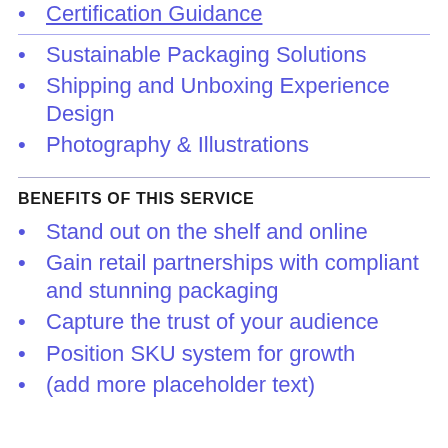Certification Guidance
Sustainable Packaging Solutions
Shipping and Unboxing Experience Design
Photography & Illustrations
BENEFITS OF THIS SERVICE
Stand out on the shelf and online
Gain retail partnerships with compliant and stunning packaging
Capture the trust of your audience
Position SKU system for growth
(add more placeholder text)